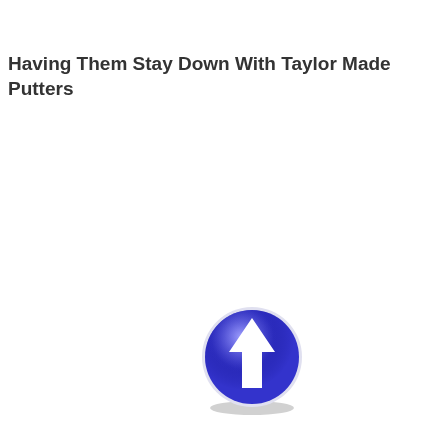Having Them Stay Down With Taylor Made Putters
[Figure (illustration): A blue glossy circular button with a white upward-pointing arrow in the center, with a slight drop shadow beneath it.]